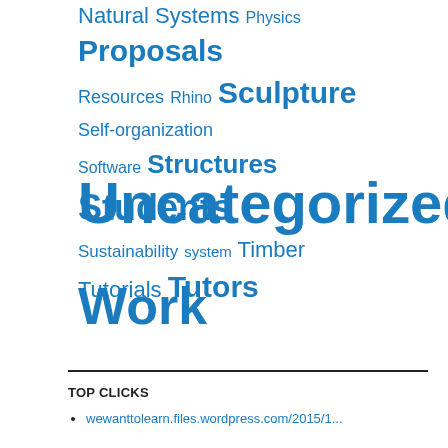Natural Systems Physics Proposals Resources Rhino Sculpture Self-organization Software Structures Students Sustainability system Timber Tutorials Tutors Uncategorized Work
TOP CLICKS
wewanttolearn.files.wordpress.com/2015/1...